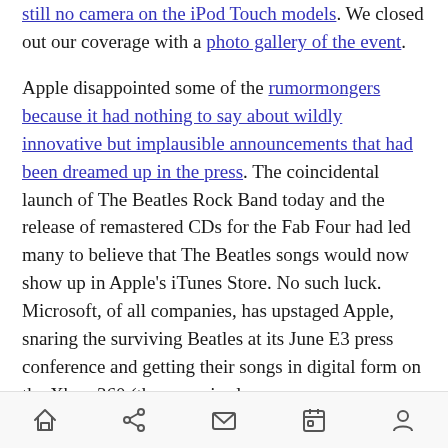still no camera on the iPod Touch models. We closed out our coverage with a photo gallery of the event.
Apple disappointed some of the rumormongers because it had nothing to say about wildly innovative but implausible announcements that had been dreamed up in the press. The coincidental launch of The Beatles Rock Band today and the release of remastered CDs for the Fab Four had led many to believe that The Beatles songs would now show up in Apple's iTunes Store. No such luck. Microsoft, of all companies, has upstaged Apple, snaring the surviving Beatles at its June E3 press conference and getting their songs in digital form on the Xbox 360 (the game is also on
[toolbar with home, share, mail, calendar, person icons]